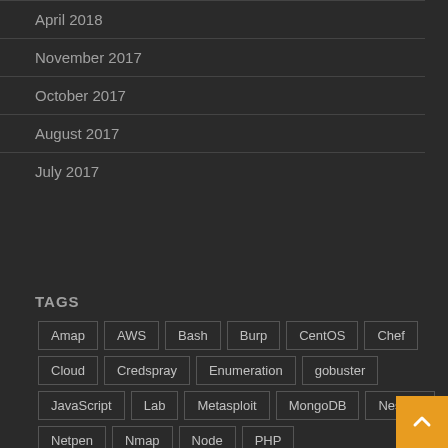April 2018
November 2017
October 2017
August 2017
July 2017
TAGS
Amap
AWS
Bash
Burp
CentOS
Chef
Cloud
Credspray
Enumeration
gobuster
JavaScript
Lab
Metasploit
MongoDB
Nessus
Netpen
Nmap
Node
PHP